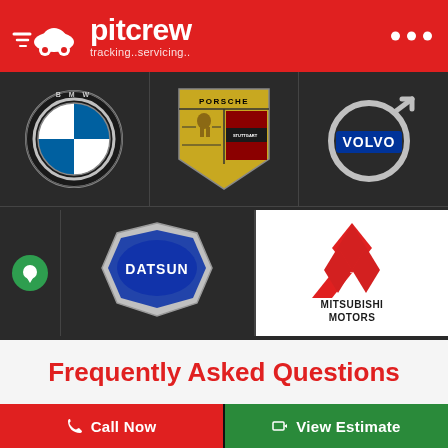[Figure (logo): Pitcrew logo - car icon with speed lines on red header background, text 'pitcrew tracking..servicing..' in white]
[Figure (logo): BMW circular logo on dark background]
[Figure (logo): Porsche crest logo on dark background]
[Figure (logo): Volvo circular logo on dark background]
[Figure (logo): Datsun badge logo on dark background]
[Figure (logo): Mitsubishi Motors logo with three diamonds and text 'MITSUBISHI MOTORS' on white background]
Frequently Asked Questions
Call Now
View Estimate